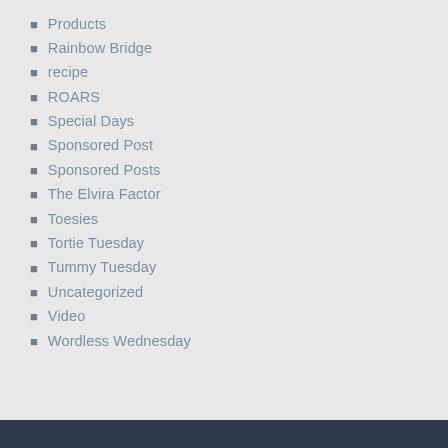Products
Rainbow Bridge
recipe
ROARS
Special Days
Sponsored Post
Sponsored Posts
The Elvira Factor
Toesies
Tortie Tuesday
Tummy Tuesday
Uncategorized
Video
Wordless Wednesday